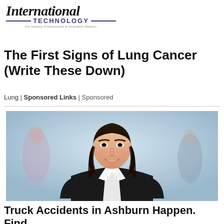International TECHNOLOGY
The First Signs of Lung Cancer (Write These Down)
Lung | Sponsored Links | Sponsored
[Figure (photo): Professional woman with dark hair in a black blazer smiling, with blurred colleagues in the background]
Truck Accidents in Ashburn Happen. Find